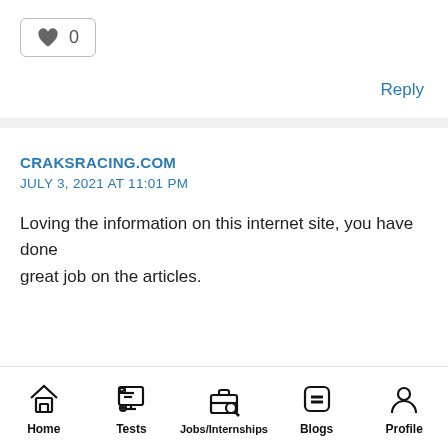[Figure (other): Like button box with heart icon and count 0]
Reply
CRAKSRACING.COM
JULY 3, 2021 AT 11:01 PM
Loving the information on this internet site, you have done great job on the articles.
Home  Tests  Jobs/Internships  Blogs  Profile